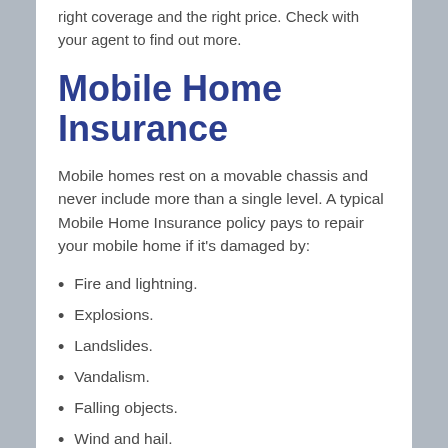right coverage and the right price. Check with your agent to find out more.
Mobile Home Insurance
Mobile homes rest on a movable chassis and never include more than a single level. A typical Mobile Home Insurance policy pays to repair your mobile home if it's damaged by:
Fire and lightning.
Explosions.
Landslides.
Vandalism.
Falling objects.
Wind and hail.